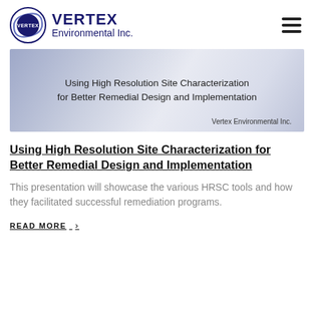[Figure (logo): Vertex Environmental Inc. logo with circular emblem and company name]
[Figure (illustration): Banner image with soft blue/grey gradient background showing the presentation title: Using High Resolution Site Characterization for Better Remedial Design and Implementation, with Vertex Environmental Inc. branding]
Using High Resolution Site Characterization for Better Remedial Design and Implementation
This presentation will showcase the various HRSC tools and how they facilitated successful remediation programs.
READ MORE ›